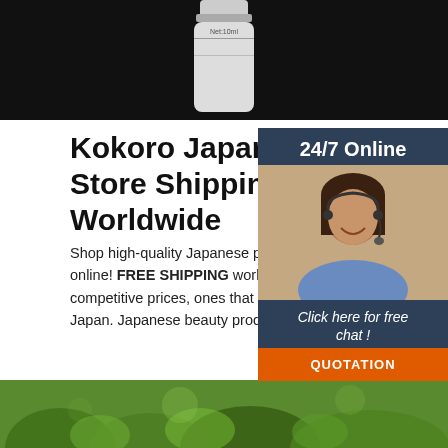[Figure (photo): Top portion showing a white cosmetic bottle with 'Net:10ml' label on a black background]
Kokoro Japan Online Store Shipping Worldwide
Shop high-quality Japanese products of all kinds prices online! FREE SHIPPING worldwide direct Extremely competitive prices, ones that are simil buy them in Japan. Japanese beauty products, h food.
[Figure (infographic): 24/7 Online chat widget with a customer service representative photo, 'Click here for free chat!' text, and QUOTATION button]
[Figure (photo): Bottom portion showing green plant/leaf macro photography]
[Figure (logo): TOP logo with red/pink dots above and orange text]